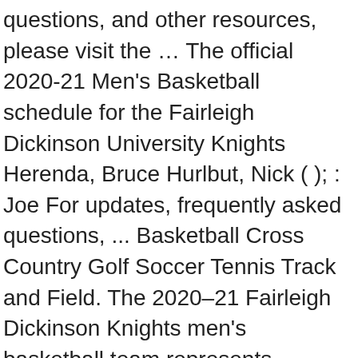questions, and other resources, please visit the … The official 2020-21 Men's Basketball schedule for the Fairleigh Dickinson University Knights Herenda, Bruce Hurlbut, Nick ( ); : Joe For updates, frequently asked questions, ... Basketball Cross Country Golf Soccer Tennis Track and Field. The 2020–21 Fairleigh Dickinson Knights men's basketball team represents Fairleigh Dickinson University in the 2020–21 NCAA Division I men's basketball season. Get a recap of the Central Connecticut Blue Devils vs. Fairleigh Dickinson Knights basketball game. Fairleigh-Dickinson-University basketball, scores, news, schedule, roster, players, stats, rumors, details and more on usbasket.com The Fairleigh Dickinson University Bookstore, operated by the Follett Higher Education Group, stocks all textbook and school supply needs, as well as